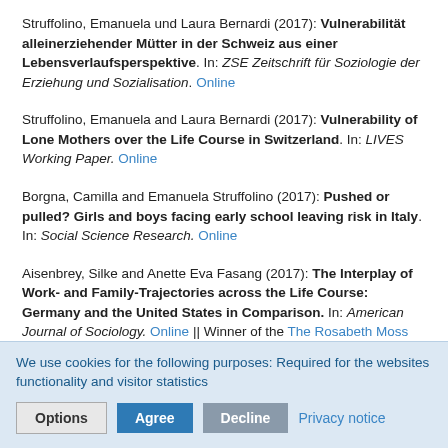Struffolino, Emanuela und Laura Bernardi (2017): Vulnerabilität alleinerziehender Mütter in der Schweiz aus einer Lebensverlaufsperspektive. In: ZSE Zeitschrift für Soziologie der Erziehung und Sozialisation. Online
Struffolino, Emanuela and Laura Bernardi (2017): Vulnerability of Lone Mothers over the Life Course in Switzerland. In: LIVES Working Paper. Online
Borgna, Camilla and Emanuela Struffolino (2017): Pushed or pulled? Girls and boys facing early school leaving risk in Italy. In: Social Science Research. Online
Aisenbrey, Silke and Anette Eva Fasang (2017): The Interplay of Work- and Family-Trajectories across the Life Course: Germany and the United States in Comparison. In: American Journal of Sociology. Online || Winner of the The Rosabeth Moss Kanter Award for Excellence in Work-Family Research
We use cookies for the following purposes: Required for the websites functionality and visitor statistics